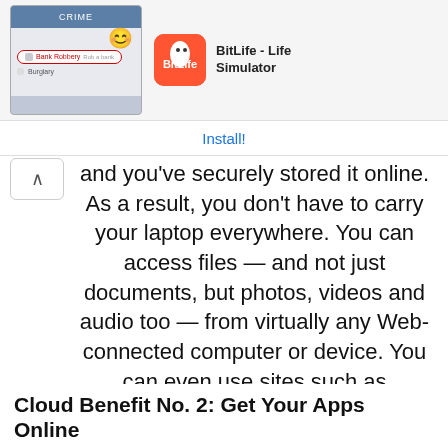[Figure (screenshot): Advertisement banner showing BitLife - Life Simulator app with a game screenshot on the left and the app icon on the right. An Install! link is shown at the bottom of the banner.]
and you've securely stored it online. As a result, you don't have to carry your laptop everywhere. You can access files — and not just documents, but photos, videos and audio too — from virtually any Web-connected computer or device. You can even use sites such as Deezer.com or Maestro.fm to store your music library in the cloud and listen to it anywhere you go.
Cloud Benefit No. 2: Get Your Apps Online